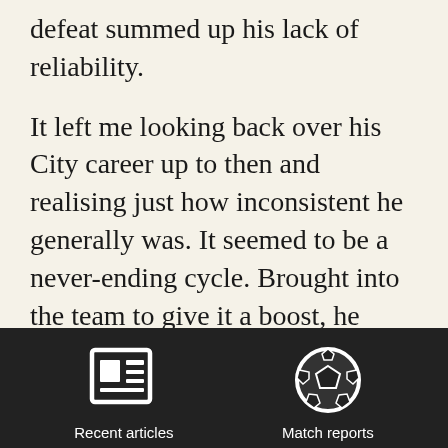defeat summed up his lack of reliability.
It left me looking back over his City career up to then and realising just how inconsistent he generally was. It seemed to be a never-ending cycle. Brought into the team to give it a boost, he would make a good impact and often score. The next game he’d be a definite starter and usually carry on where he left off. But then the
[Figure (infographic): Navigation footer bar with two icons: a newspaper icon labeled 'Recent articles' and a soccer ball icon labeled 'Match reports']